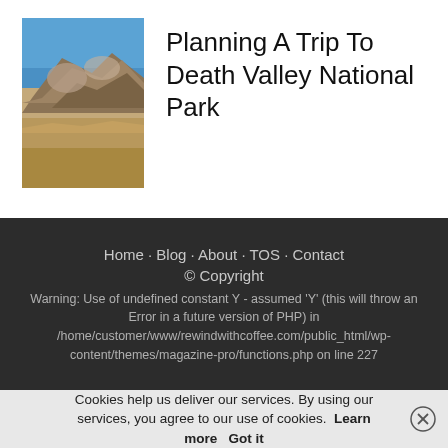[Figure (photo): Photograph of rocky desert formation against blue sky, likely from Death Valley National Park]
Planning A Trip To Death Valley National Park
Home · Blog · About · TOS · Contact
© Copyright
Warning: Use of undefined constant Y - assumed 'Y' (this will throw an Error in a future version of PHP) in /home/customer/www/rewindwithcoffee.com/public_html/wp-content/themes/magazine-pro/functions.php on line 227
Cookies help us deliver our services. By using our services, you agree to our use of cookies. Learn more   Got it